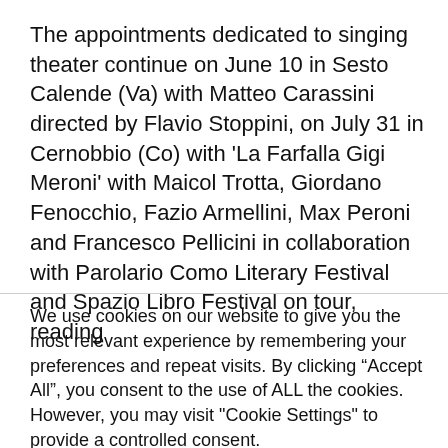The appointments dedicated to singing theater continue on June 10 in Sesto Calende (Va) with Matteo Carassini directed by Flavio Stoppini, on July 31 in Cernobbio (Co) with 'La Farfalla Gigi Meroni' with Maicol Trotta, Giordano Fenocchio, Fazio Armellini, Max Peroni and Francesco Pellicini in collaboration with Parolario Como Literary Festival and Spazio Libro Festival on tour, reading
We use cookies on our website to give you the most relevant experience by remembering your preferences and repeat visits. By clicking “Accept All”, you consent to the use of ALL the cookies. However, you may visit "Cookie Settings" to provide a controlled consent.
Cookie Settings
Accept All